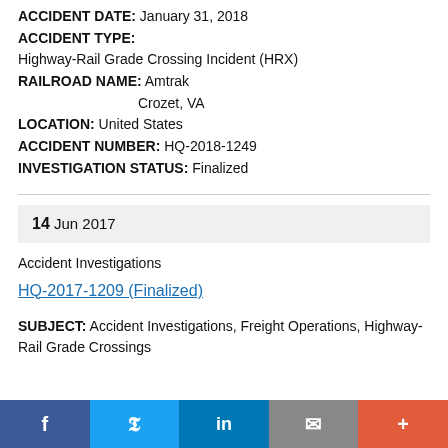ACCIDENT DATE: January 31, 2018
ACCIDENT TYPE: Highway-Rail Grade Crossing Incident (HRX)
RAILROAD NAME: Amtrak
Crozet, VA
LOCATION: United States
ACCIDENT NUMBER: HQ-2018-1249
INVESTIGATION STATUS: Finalized
14 Jun 2017
Accident Investigations
HQ-2017-1209 (Finalized)
SUBJECT: Accident Investigations, Freight Operations, Highway-Rail Grade Crossings